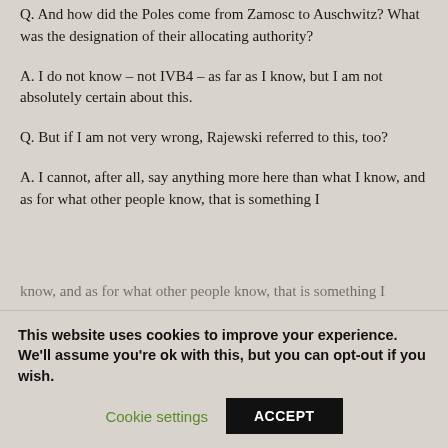Q. And how did the Poles come from Zamosc to Auschwitz? What was the designation of their allocating authority?
A. I do not know – not IVB4 – as far as I know, but I am not absolutely certain about this.
Q. But if I am not very wrong, Rajewski referred to this, too?
A. I cannot, after all, say anything more here than what I know, and as for what other people know, that is something I
This website uses cookies to improve your experience. We'll assume you're ok with this, but you can opt-out if you wish.